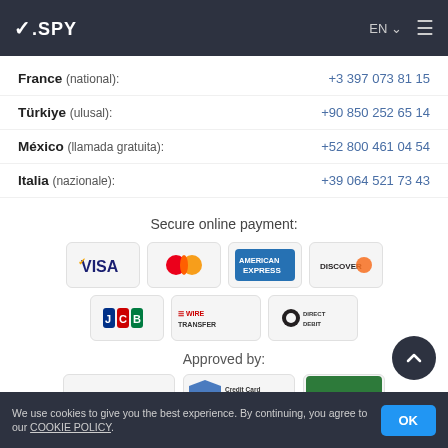mSPY | EN | menu
France (national): +3 397 073 81 15
Türkiye (ulusal): +90 850 252 65 14
México (llamada gratuita): +52 800 461 04 54
Italia (nazionale): +39 064 521 73 43
Secure online payment:
[Figure (logo): Payment method logos: VISA, Mastercard, American Express, Discover, JCB, Wire Transfer, Direct Debit]
Approved by:
[Figure (logo): Approval badges: stopbullying, Credit Card Safe, press]
We use cookies to give you the best experience. By continuing, you agree to our COOKIE POLICY. OK